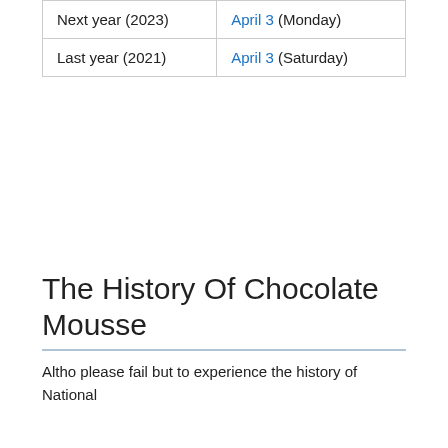| Next year (2023) | April 3 (Monday) |
| Last year (2021) | April 3 (Saturday) |
The History Of Chocolate Mousse
Altho please fail but to experience the history of National...